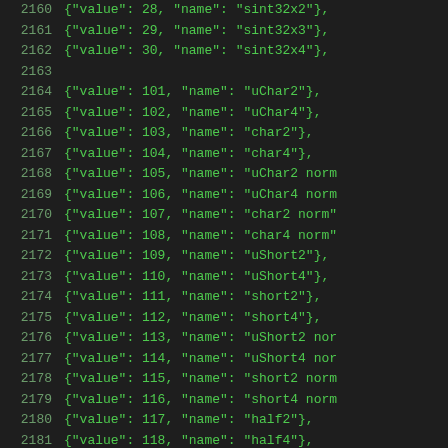2160    {"value": 28, "name": "sint32x2"},
2161    {"value": 29, "name": "sint32x3"},
2162    {"value": 30, "name": "sint32x4"},
2163
2164    {"value": 101, "name": "uChar2"},
2165    {"value": 102, "name": "uChar4"},
2166    {"value": 103, "name": "char2"},
2167    {"value": 104, "name": "char4"},
2168    {"value": 105, "name": "uChar2 norm
2169    {"value": 106, "name": "uChar4 norm
2170    {"value": 107, "name": "char2 norm"
2171    {"value": 108, "name": "char4 norm"
2172    {"value": 109, "name": "uShort2"},
2173    {"value": 110, "name": "uShort4"},
2174    {"value": 111, "name": "short2"},
2175    {"value": 112, "name": "short4"},
2176    {"value": 113, "name": "uShort2 nor
2177    {"value": 114, "name": "uShort4 nor
2178    {"value": 115, "name": "short2 norm
2179    {"value": 116, "name": "short4 norm
2180    {"value": 117, "name": "half2"},
2181    {"value": 118, "name": "half4"},